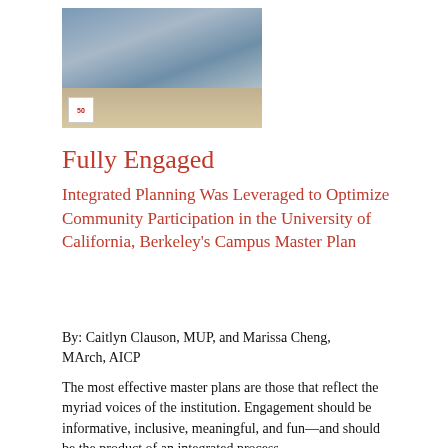[Figure (photo): Indoor photo showing people seated in a large open space with blue chairs and a reflective floor. A 50th anniversary badge is visible in the lower left corner.]
Fully Engaged
Integrated Planning Was Leveraged to Optimize Community Participation in the University of California, Berkeley’s Campus Master Plan
By: Caitlyn Clauson, MUP, and Marissa Cheng, MArch, AICP
The most effective master plans are those that reflect the myriad voices of the institution. Engagement should be informative, inclusive, meaningful, and fun—and should be the product of an integrated process.